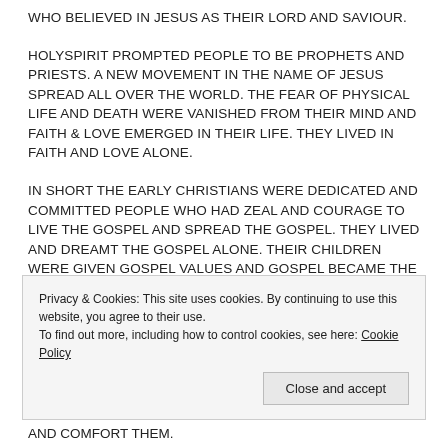WHO BELIEVED IN JESUS AS THEIR LORD AND SAVIOUR.
HOLYSPIRIT PROMPTED PEOPLE TO BE PROPHETS AND PRIESTS. A NEW MOVEMENT IN THE NAME OF JESUS SPREAD ALL OVER THE WORLD. THE FEAR OF PHYSICAL LIFE AND DEATH WERE VANISHED FROM THEIR MIND AND FAITH & LOVE EMERGED IN THEIR LIFE. THEY LIVED IN FAITH AND LOVE ALONE.
IN SHORT THE EARLY CHRISTIANS WERE DEDICATED AND COMMITTED PEOPLE WHO HAD ZEAL AND COURAGE TO LIVE THE GOSPEL AND SPREAD THE GOSPEL. THEY LIVED AND DREAMT THE GOSPEL ALONE. THEIR CHILDREN WERE GIVEN GOSPEL VALUES AND GOSPEL BECAME THE
Privacy & Cookies: This site uses cookies. By continuing to use this website, you agree to their use.
To find out more, including how to control cookies, see here: Cookie Policy
Close and accept
AND COMFORT THEM.